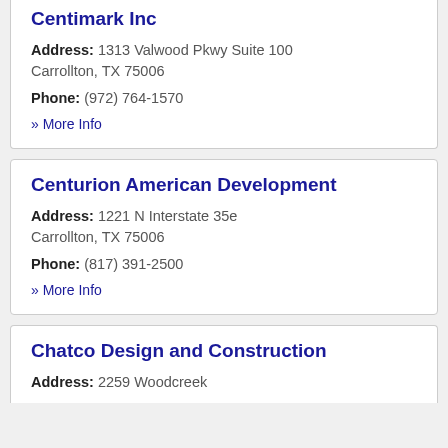Centimark Inc
Address: 1313 Valwood Pkwy Suite 100 Carrollton, TX 75006
Phone: (972) 764-1570
» More Info
Centurion American Development
Address: 1221 N Interstate 35e Carrollton, TX 75006
Phone: (817) 391-2500
» More Info
Chatco Design and Construction
Address: 2259 Woodcreek